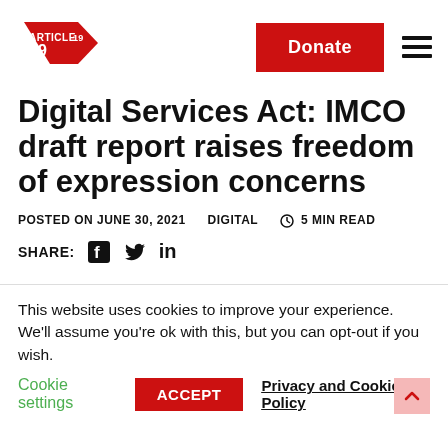[Figure (logo): ARTICLE 19 logo — red triangular arrow shape with 'ARTICLE 19' text]
Digital Services Act: IMCO draft report raises freedom of expression concerns
POSTED ON JUNE 30, 2021   DIGITAL   ⏱ 5 MIN READ
SHARE: [Facebook icon] [Twitter icon] in
This website uses cookies to improve your experience. We'll assume you're ok with this, but you can opt-out if you wish.
Cookie settings   ACCEPT   Privacy and Cookie Policy